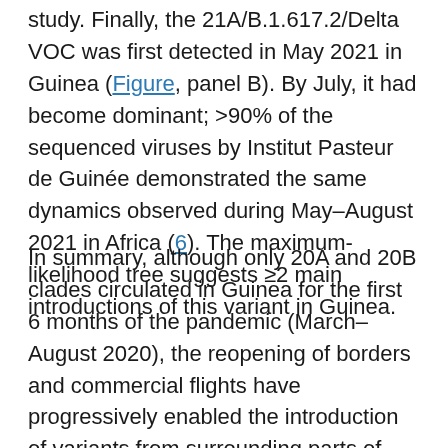study. Finally, the 21A/B.1.617.2/Delta VOC was first detected in May 2021 in Guinea (Figure, panel B). By July, it had become dominant; >90% of the sequenced viruses by Institut Pasteur de Guinée demonstrated the same dynamics observed during May–August 2021 in Africa (6). The maximum-likelihood tree suggests ≥2 main introductions of this variant in Guinea.
In summary, although only 20A and 20B clades circulated in Guinea for the first 6 months of the pandemic (March–August 2020), the reopening of borders and commercial flights have progressively enabled the introduction of variants from surrounding parts of Africa (21D/B.1.525/Eta) and globally (20I/B.1.1.7/Alpha and 21A/B.1.617.2/Delta) several months after their original detection (Table). Although the 20I/B.1.1.7/Alpha and